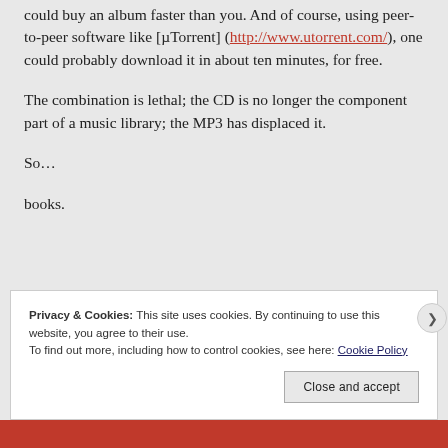could buy an album faster than you. And of course, using peer-to-peer software like [µTorrent] (http://www.utorrent.com/), one could probably download it in about ten minutes, for free.
The combination is lethal; the CD is no longer the component part of a music library; the MP3 has displaced it.
So…
books.
Privacy & Cookies: This site uses cookies. By continuing to use this website, you agree to their use. To find out more, including how to control cookies, see here: Cookie Policy